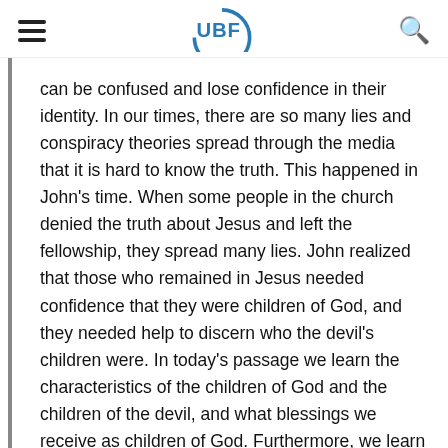UBF
can be confused and lose confidence in their identity. In our times, there are so many lies and conspiracy theories spread through the media that it is hard to know the truth. This happened in John’s time. When some people in the church denied the truth about Jesus and left the fellowship, they spread many lies. John realized that those who remained in Jesus needed confidence that they were children of God, and they needed help to discern who the devil’s children were. In today’s passage we learn the characteristics of the children of God and the children of the devil, and what blessings we receive as children of God. Furthermore, we learn how we should live as children of God in this confusing time.